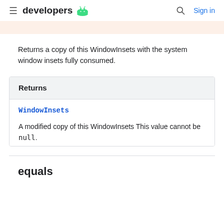developers  Sign in
Returns a copy of this WindowInsets with the system window insets fully consumed.
| Returns |
| --- |
| WindowInsets | A modified copy of this WindowInsets This value cannot be null. |
equals